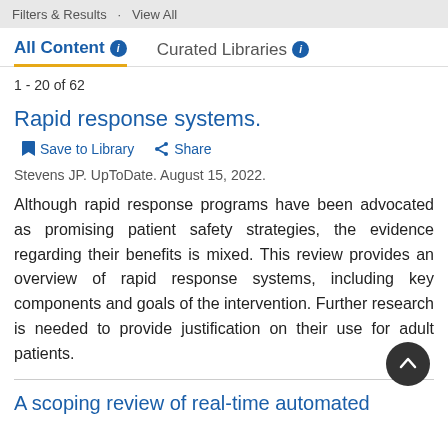Filters & Results · View All
All Content  Curated Libraries
1 - 20 of 62
Rapid response systems.
Save to Library   Share
Stevens JP. UpToDate. August 15, 2022.
Although rapid response programs have been advocated as promising patient safety strategies, the evidence regarding their benefits is mixed. This review provides an overview of rapid response systems, including key components and goals of the intervention. Further research is needed to provide justification on their use for adult patients.
A scoping review of real-time automated